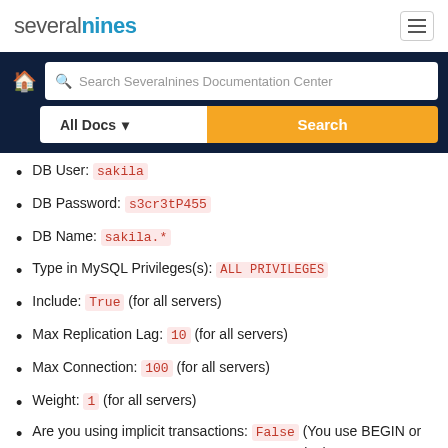severalnines [logo] [hamburger menu]
[Figure (screenshot): Search bar with 'Search Severalnines Documentation Center' placeholder, All Docs dropdown and Search button on dark navy background]
DB User: sakila
DB Password: s3cr3tP455
DB Name: sakila.*
Type in MySQL Privileges(s): ALL PRIVILEGES
Include: True (for all servers)
Max Replication Lag: 10 (for all servers)
Max Connection: 100 (for all servers)
Weight: 1 (for all servers)
Are you using implicit transactions: False (You use BEGIN or START TRANSACTION to create a transaction)